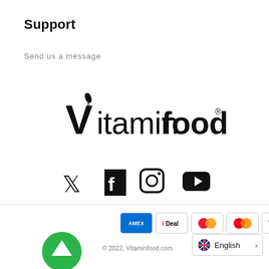Support
Send us a message
[Figure (logo): Vitaminfood logo with leaf motif above the V]
[Figure (infographic): Social media icons: Twitter, Facebook, Instagram, YouTube]
[Figure (infographic): Payment method icons: AMEX, iDEAL, Maestro, Mastercard, VISA]
© 2022, Vitaminfood.com
[Figure (infographic): Green circular up arrow button]
English >